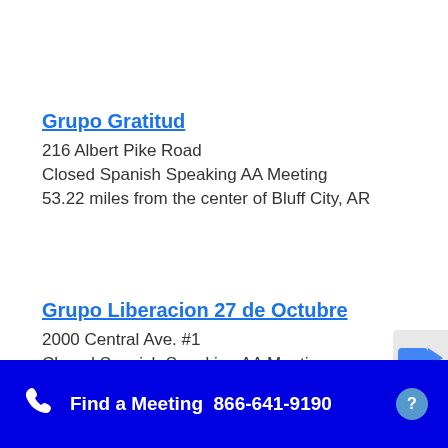Grupo Gratitud
216 Albert Pike Road
Closed Spanish Speaking AA Meeting
53.22 miles from the center of Bluff City, AR
Grupo Liberacion 27 de Octubre
2000 Central Ave. #1
Closed Spanish Speaking AA Meeting
Find a Meeting  866-641-9190